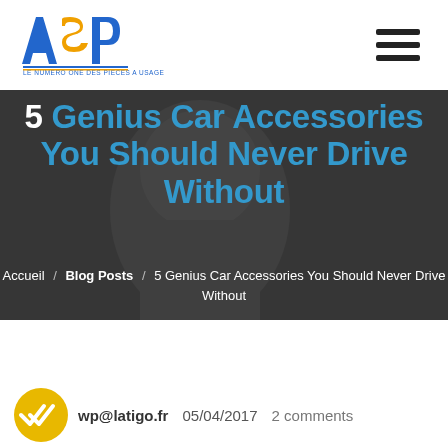[Figure (logo): ASP logo - blue and orange letters with tagline 'LE NUMERO ONE DES PIECES A USAGE']
[Figure (photo): Dark hero banner with man's face in grayscale background]
5 Genius Car Accessories You Should Never Drive Without
Accueil / Blog Posts / 5 Genius Car Accessories You Should Never Drive Without
[Figure (illustration): Yellow/gold circular avatar with double checkmark icon]
wp@latigo.fr   05/04/2017   2 comments